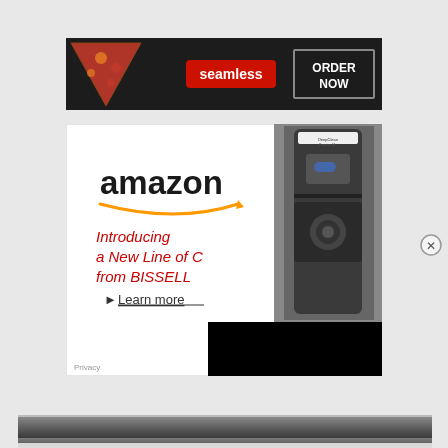[Figure (screenshot): Seamless food delivery ad banner with pizza image on left, red Seamless logo badge in center, and white ORDER NOW button on right, on dark background]
[Figure (screenshot): Amazon advertisement featuring amazon wordmark with orange arrow smile, red italic text reading 'Introducing a New Line of C... from BISSELL' with a Learn more link, and a Bissell DeepClean vacuum on the right side. A large black overlay rectangle partially obscures the lower right. A close button (circled X) appears top-right. A Privacy label is at bottom left.]